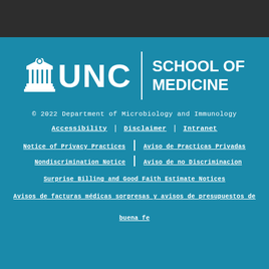[Figure (logo): UNC School of Medicine logo with building icon, UNC text, vertical divider, and SCHOOL OF MEDICINE text, white on teal background]
© 2022 Department of Microbiology and Immunology
Accessibility | Disclaimer | Intranet
Notice of Privacy Practices | Aviso de Practicas Privadas
Nondiscrimination Notice | Aviso de no Discriminacion
Surprise Billing and Good Faith Estimate Notices
Avisos de facturas médicas sorpresas y avisos de presupuestos de buena fe